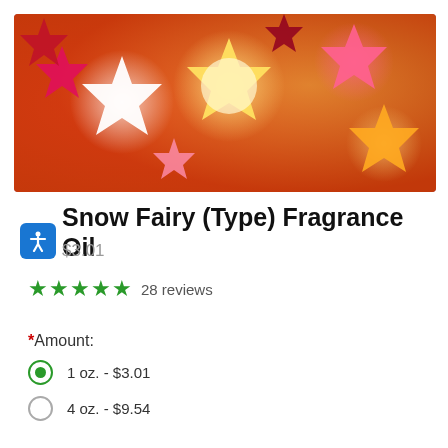[Figure (photo): Colorful glowing stars in pink, magenta, red, white, and yellow-orange against a warm background — product hero image for Snow Fairy (Type) Fragrance Oil]
Snow Fairy (Type) Fragrance Oil
$3.01
★★★★★ 28 reviews
* Amount:
1 oz. - $3.01 (selected)
4 oz. - $9.54